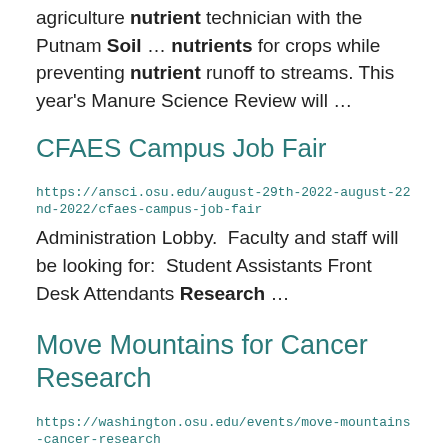agriculture nutrient technician with the Putnam Soil ... nutrients for crops while preventing nutrient runoff to streams. This year's Manure Science Review will ...
CFAES Campus Job Fair
https://ansci.osu.edu/august-29th-2022-august-22nd-2022/cfaes-campus-job-fair
Administration Lobby.  Faculty and staff will be looking for:  Student Assistants Front Desk Attendants Research ...
Move Mountains for Cancer Research
https://washington.osu.edu/events/move-mountains-cancer-research